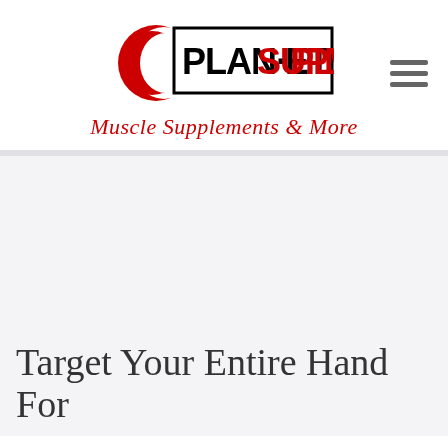[Figure (logo): Planet Supplement logo with red planet/circle graphic and bold text 'PLANET SUPPLEMENT' in a rectangular border]
Muscle Supplements & More
[Figure (other): Hamburger menu icon (three horizontal lines)]
Target Your Entire Hand For